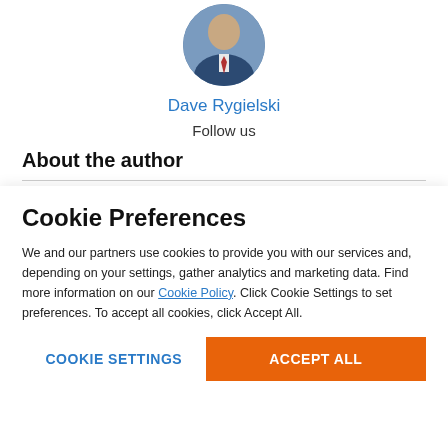[Figure (photo): Circular profile photo of Dave Rygielski, a man in a suit with a tie]
Dave Rygielski
Follow us
About the author
Dave is a career expert delivering a wide range of well-researched career advice through the hunting and application process. At Resumelab, his data-driven resume and cover letter guides help
Cookie Preferences
We and our partners use cookies to provide you with our services and, depending on your settings, gather analytics and marketing data. Find more information on our Cookie Policy. Click Cookie Settings to set preferences. To accept all cookies, click Accept All.
COOKIE SETTINGS
ACCEPT ALL
Want to create ...